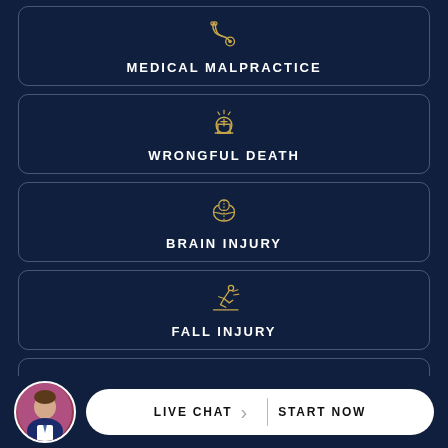[Figure (illustration): Stethoscope icon in gold outline]
MEDICAL MALPRACTICE
[Figure (illustration): Warning light / siren icon in gold outline]
WRONGFUL DEATH
[Figure (illustration): Brain icon in gold outline]
BRAIN INJURY
[Figure (illustration): Person falling icon in gold outline]
FALL INJURY
[Figure (illustration): Baby carriage / pram icon in gold outline]
[Figure (photo): Circular avatar photo of a smiling man in suit]
LIVE CHAT  START NOW